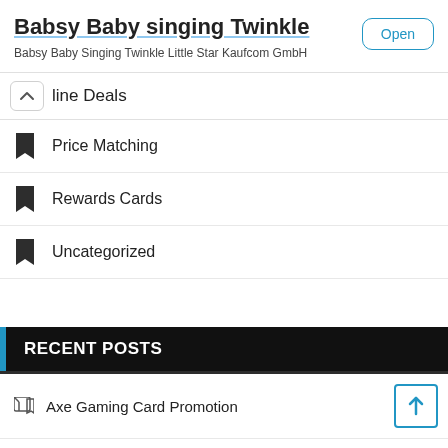Babsy Baby singing Twinkle
Babsy Baby Singing Twinkle Little Star Kaufcom GmbH
line Deals
Price Matching
Rewards Cards
Uncategorized
RECENT POSTS
Axe Gaming Card Promotion